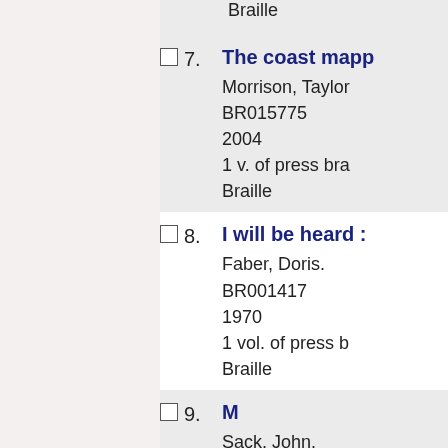Braille
7. The coast mapp...
Morrison, Taylor
BR015775
2004
1 v. of press bra
Braille
8. I will be heard :
Faber, Doris.
BR001417
1970
1 vol. of press b
Braille
9. M
Sack, John.
BR000482
2 vols. of press b
Braille
10. T...